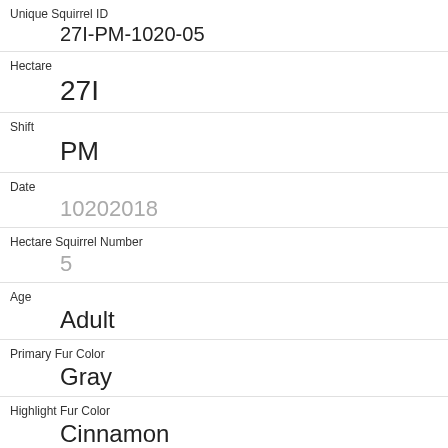| Unique Squirrel ID | 27I-PM-1020-05 |
| Hectare | 27I |
| Shift | PM |
| Date | 10202018 |
| Hectare Squirrel Number | 5 |
| Age | Adult |
| Primary Fur Color | Gray |
| Highlight Fur Color | Cinnamon |
| Combination of Primary and Highlight Color | Gray+Cinnamon |
| Color notes |  |
| Location |  |